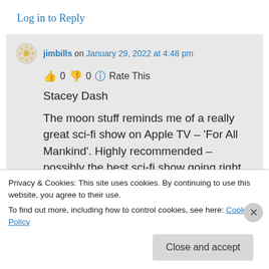Log in to Reply
jimbills on January 29, 2022 at 4:48 pm
👍 0 👎 0 ℹ Rate This
Stacey Dash
The moon stuff reminds me of a really great sci-fi show on Apple TV – 'For All Mankind'. Highly recommended – possibly the best sci-fi show going right now.
Privacy & Cookies: This site uses cookies. By continuing to use this website, you agree to their use. To find out more, including how to control cookies, see here: Cookie Policy
Close and accept